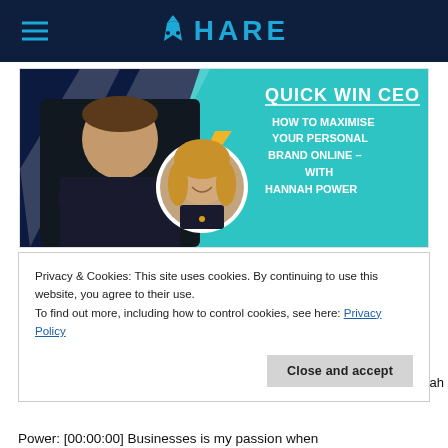HARE
[Figure (illustration): Quick Win CEO podcast thumbnail featuring a man with crossed arms on the left, a circular inset photo of a woman on the right, with teal background and text: QUICK WIN CEO - HOW TO MAXIMISE YOUR PERSONAL BRAND ONLINE - WITH HANNAH POWER]
Privacy & Cookies: This site uses cookies. By continuing to use this website, you agree to their use.
To find out more, including how to control cookies, see here: Privacy Policy
Close and accept
Power: [00:00:00] Businesses is my passion when